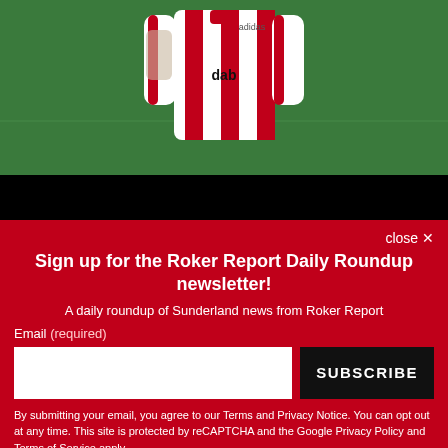[Figure (photo): Soccer player in red and white striped jersey (Sunderland AFC kit) on a green pitch background, with a black bar at the bottom of the image]
Pre-Derby Friendly For Sam's Men
With his side set for yet another break from Premier League action this weekend, Sam Allardyce is...
close ×
Sign up for the Roker Report Daily Roundup newsletter!
A daily roundup of Sunderland news from Roker Report
Email (required)
SUBSCRIBE
By submitting your email, you agree to our Terms and Privacy Notice. You can opt out at any time. This site is protected by reCAPTCHA and the Google Privacy Policy and Terms of Service apply.